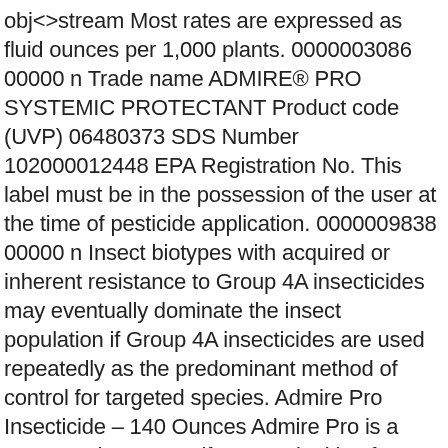obj<>stream Most rates are expressed as fluid ounces per 1,000 plants. 0000003086 00000 n Trade name ADMIRE® PRO SYSTEMIC PROTECTANT Product code (UVP) 06480373 SDS Number 102000012448 EPA Registration No. This label must be in the possession of the user at the time of pesticide application. 0000009838 00000 n Insect biotypes with acquired or inherent resistance to Group 4A insecticides may eventually dominate the insect population if Group 4A insecticides are used repeatedly as the predominant method of control for targeted species. Admire Pro Insecticide – 140 Ounces Admire Pro is a great product to use if you are looking for a systemic insecticide to protect your fruits and vegetables from many key insects including: Aphids, Whitefly, Beetles, Leafhoppers, and Mealy bugs. This label must be in the possession of the user at the time of pesticide application. The distribution, sale and use of